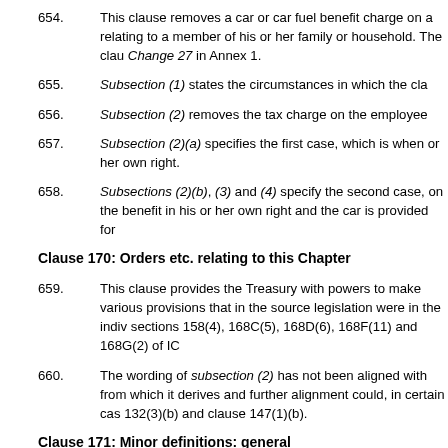654.      This clause removes a car or car fuel benefit charge on a relating to a member of his or her family or household. The clau Change 27 in Annex 1.
655.      Subsection (1) states the circumstances in which the cla
656.      Subsection (2) removes the tax charge on the employee
657.      Subsection (2)(a) specifies the first case, which is when or her own right.
658.      Subsections (2)(b), (3) and (4) specify the second case, on the benefit in his or her own right and the car is provided for
Clause 170: Orders etc. relating to this Chapter
659.      This clause provides the Treasury with powers to make various provisions that in the source legislation were in the indiv sections 158(4), 168C(5), 168D(6), 168F(11) and 168G(2) of IC
660.      The wording of subsection (2) has not been aligned with from which it derives and further alignment could, in certain cas 132(3)(b) and clause 147(1)(b).
Clause 171: Minor definitions: general
661.      This clause gives definitions of terms that are used wide and (5A), 168A(9), 168AA(3), and 168AB(3) of ICTA and from p
Clause 172: Minor definitions: equipment to enable a disab